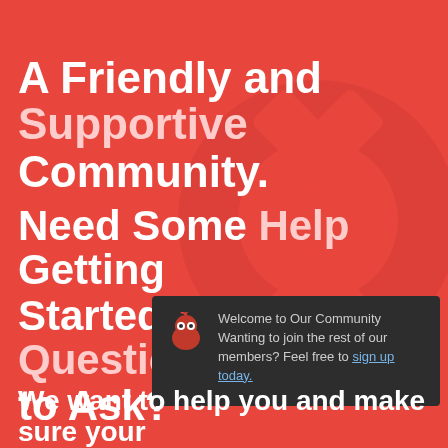[Figure (illustration): Watermark of a lifesaver ring / Ubuntu-style circular icon in a slightly darker red, positioned in the upper-right background area of the page.]
A Friendly and Supportive Community. Need Some Help Getting Started? Have a Questions to Ask?
[Figure (screenshot): A dark notification/popup box with a red robot/ninja mascot icon on the left and text: 'Welcome to Our Community Wanting to join the rest of our members? Feel free to sign up today.' The words 'sign up today.' appear as a blue underlined hyperlink.]
We want to help you and make sure your